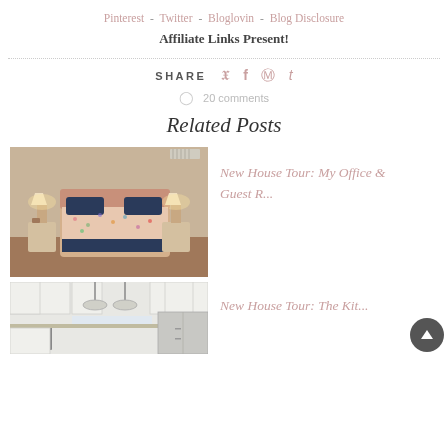Pinterest - Twitter - Bloglovin - Blog Disclosure
Affiliate Links Present!
SHARE
20 comments
Related Posts
[Figure (photo): Bedroom with floral/colorful bedspread and navy pillows, two nightstands with lamps]
New House Tour: My Office & Guest R...
[Figure (photo): Kitchen with white cabinets, pendant lights, stainless steel appliances]
New House Tour: The Kit...